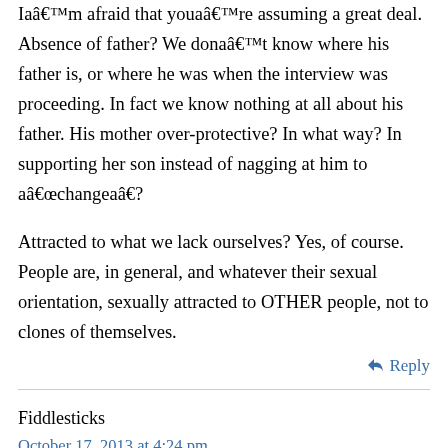Iâ€™m afraid that youâ€™re assuming a great deal. Absence of father? We donâ€™t know where his father is, or where he was when the interview was proceeding. In fact we know nothing at all about his father. His mother over-protective? In what way? In supporting her son instead of nagging at him to â€œchangeâ€?
Attracted to what we lack ourselves? Yes, of course. People are, in general, and whatever their sexual orientation, sexually attracted to OTHER people, not to clones of themselves.
Reply
Fiddlesticks
October 17, 2013 at 4:24 pm
Yes, we can't make assumptions about where the